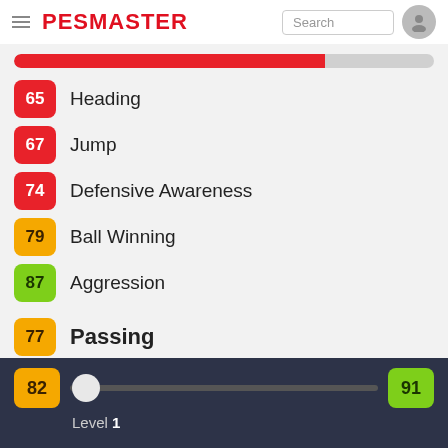PESMASTER
[Figure (infographic): Red progress bar approximately 74% filled]
65 Heading
67 Jump
74 Defensive Awareness
79 Ball Winning
87 Aggression
77 Passing
[Figure (infographic): Orange progress bar approximately 77% filled]
83 Low Pass
82  Level 1  91